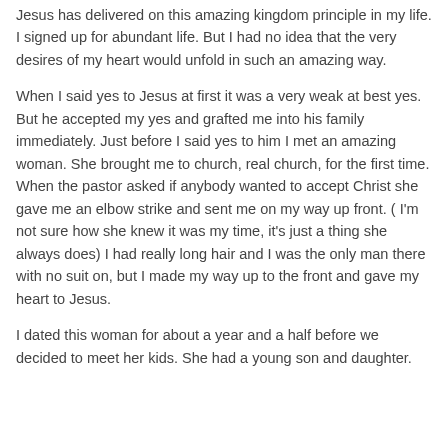Jesus has delivered on this amazing kingdom principle in my life. I signed up for abundant life. But I had no idea that the very desires of my heart would unfold in such an amazing way.
When I said yes to Jesus at first it was a very weak at best yes. But he accepted my yes and grafted me into his family immediately. Just before I said yes to him I met an amazing woman. She brought me to church, real church, for the first time. When the pastor asked if anybody wanted to accept Christ she gave me an elbow strike and sent me on my way up front. ( I'm not sure how she knew it was my time, it's just a thing she always does) I had really long hair and I was the only man there with no suit on, but I made my way up to the front and gave my heart to Jesus.
I dated this woman for about a year and a half before we decided to meet her kids. She had a young son and daughter.